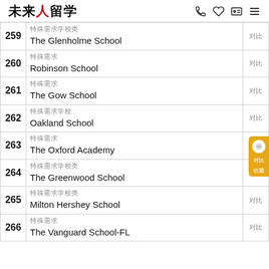未来人留学
| # | School Name | Status |
| --- | --- | --- |
| 259 | The Glenholme School |  |
| 260 | Robinson School |  |
| 261 | The Gow School |  |
| 262 | Oakland School |  |
| 263 | The Oxford Academy |  |
| 264 | The Greenwood School |  |
| 265 | Milton Hershey School |  |
| 266 | The Vanguard School-FL |  |